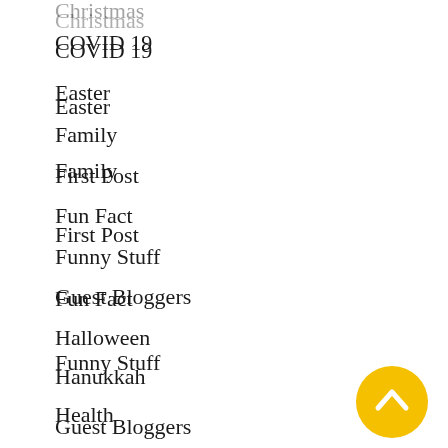Christmas
COVID 19
Easter
Family
First Post
Fun Fact
Funny Stuff
Guest Bloggers
Halloween
Hanukkah
Health
Hope
Humanity
Inspiration
Love
Lyme
New Year
[Figure (illustration): Yellow circular button with upward-pointing chevron arrow, used as a scroll-to-top button]